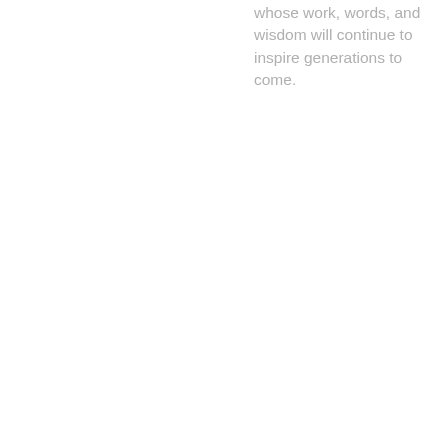whose work, words, and wisdom will continue to inspire generations to come.